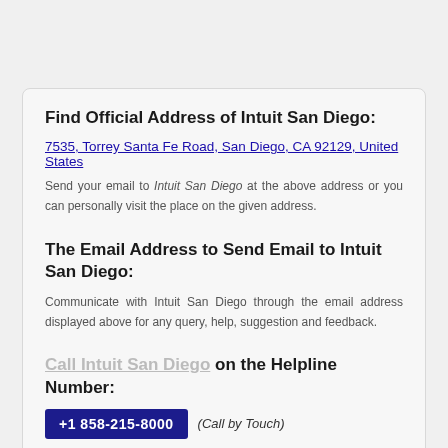Find Official Address of Intuit San Diego:
7535, Torrey Santa Fe Road, San Diego, CA 92129, United States
Send your email to Intuit San Diego at the above address or you can personally visit the place on the given address.
The Email Address to Send Email to Intuit San Diego:
Communicate with Intuit San Diego through the email address displayed above for any query, help, suggestion and feedback.
Call Intuit San Diego on the Helpline Number:
+1 858-215-8000 (Call by Touch)
windowadsbygoogle Intuit San Diego on the specified contact number.
||